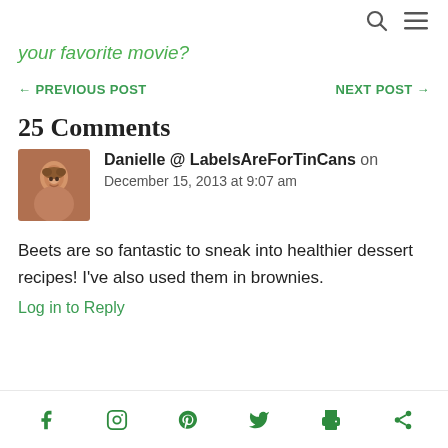🔍 ☰
your favorite movie?
← PREVIOUS POST    NEXT POST →
25 Comments
Danielle @ LabelsAreForTinCans on December 15, 2013 at 9:07 am
Beets are so fantastic to sneak into healthier dessert recipes! I've also used them in brownies.
Log in to Reply
f  Instagram  P  Twitter  Print  Share